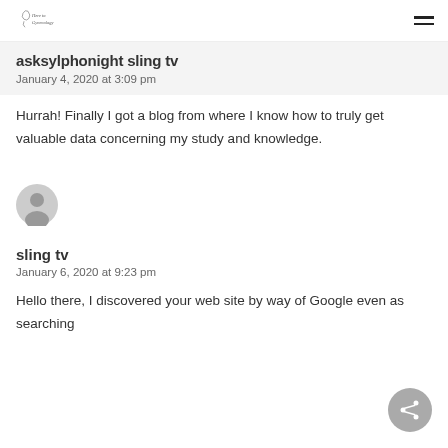Here to Gynecology
asksylphonight sling tv
January 4, 2020 at 3:09 pm
Hurrah! Finally I got a blog from where I know how to truly get valuable data concerning my study and knowledge.
[Figure (illustration): Default user avatar - grey circular silhouette of a person]
sling tv
January 6, 2020 at 9:23 pm
Hello there, I discovered your web site by way of Google even as searching